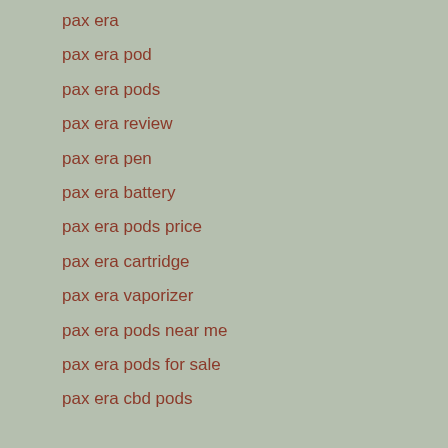pax era
pax era pod
pax era pods
pax era review
pax era pen
pax era battery
pax era pods price
pax era cartridge
pax era vaporizer
pax era pods near me
pax era pods for sale
pax era cbd pods